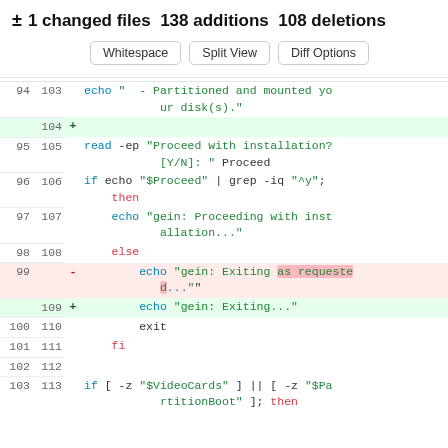± 1 changed files 138 additions 108 deletions
[Figure (screenshot): Git diff view showing code changes with line numbers, additions (green), deletions (red), and diff options buttons (Whitespace, Split View, Diff Options)]